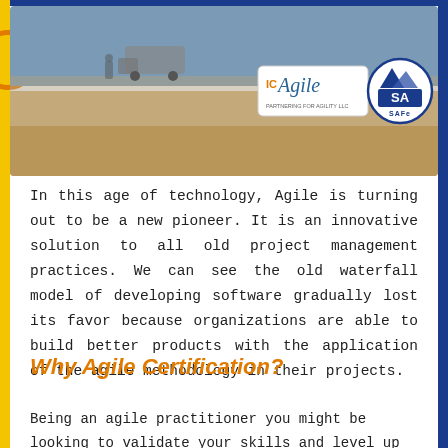[Figure (photo): Hero banner image showing a desert/sandy landscape scene with an ICAgile logo badge and a SAFe SA circular badge overlaid on the right side.]
In this age of technology, Agile is turning out to be a new pioneer. It is an innovative solution to all old project management practices. We can see the old waterfall model of developing software gradually lost its favor because organizations are able to build better products with the application of the agile methodology in their projects.
Why Agile Certification?
Being an agile practitioner you might be looking to validate your skills and level up your career